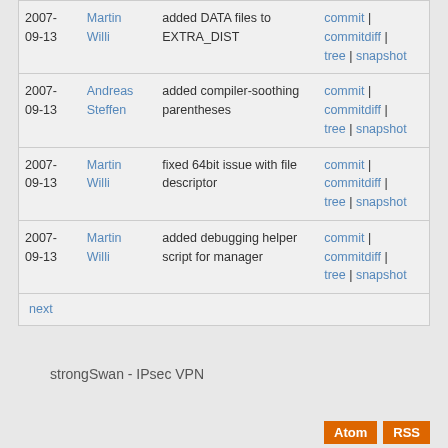| Date | Author | Message | Links |
| --- | --- | --- | --- |
| 2007-09-13 | Martin Willi | added DATA files to EXTRA_DIST | commit | commitdiff | tree | snapshot |
| 2007-09-13 | Andreas Steffen | added compiler-soothing parentheses | commit | commitdiff | tree | snapshot |
| 2007-09-13 | Martin Willi | fixed 64bit issue with file descriptor | commit | commitdiff | tree | snapshot |
| 2007-09-13 | Martin Willi | added debugging helper script for manager | commit | commitdiff | tree | snapshot |
next
strongSwan - IPsec VPN
Atom  RSS